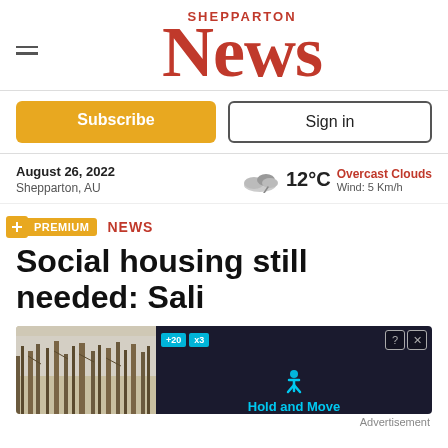SHEPPARTON News
Subscribe
Sign in
August 26, 2022
Shepparton, AU
12°C Overcast Clouds Wind: 5 Km/h
+ PREMIUM  NEWS
Social housing still needed: Sali
[Figure (screenshot): Advertisement banner showing a dark background with 'Hold and Move' text in cyan, person icon, and top bar with badges +20, x3 and close/info buttons. Left portion shows trees in winter.]
Advertisement